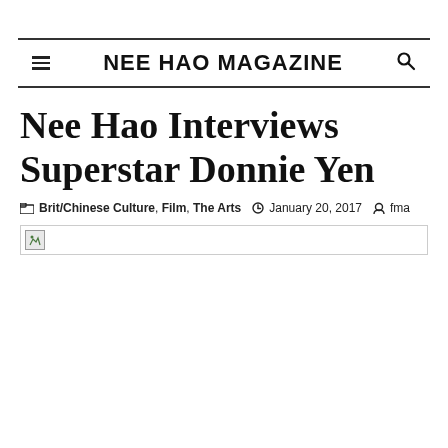NEE HAO MAGAZINE
Nee Hao Interviews Superstar Donnie Yen
Brit/Chinese Culture, Film, The Arts  January 20, 2017  fma
[Figure (photo): Broken image placeholder for article photo]